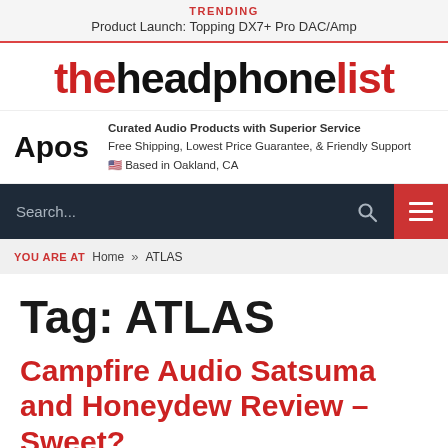TRENDING
Product Launch: Topping DX7+ Pro DAC/Amp
theheadphonelist
[Figure (logo): Apos logo with text: Curated Audio Products with Superior Service. Free Shipping, Lowest Price Guarantee, & Friendly Support. Based in Oakland, CA]
Search...
YOU ARE AT  Home » ATLAS
Tag: ATLAS
Campfire Audio Satsuma and Honeydew Review – Sweet?